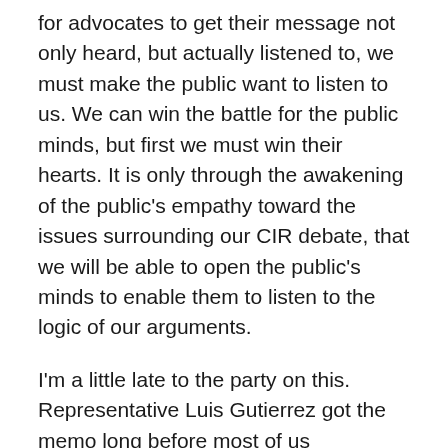for advocates to get their message not only heard, but actually listened to, we must make the public want to listen to us. We can win the battle for the public minds, but first we must win their hearts. It is only through the awakening of the public's empathy toward the issues surrounding our CIR debate, that we will be able to open the public's minds to enable them to listen to the logic of our arguments.
I'm a little late to the party on this. Representative Luis Gutierrez got the memo long before most of us deciphered the code. His twenty-one city Familias Unidas Tour was a stroke of political genius. Unfortunately, only a few thousand people were fortunate enough to have been able to attend one of these events. Therefore, my fellow advocates and I must pick up the ball and run with it. We must come together and advocate for empathy on this issue. Certainly this is not an original thought. Many fine